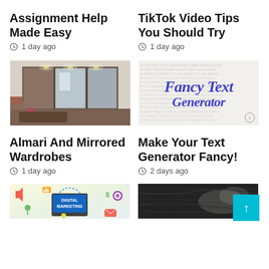Assignment Help Made Easy
1 day ago
TikTok Video Tips You Should Try
1 day ago
[Figure (photo): A modern bedroom wardrobe with mirrored sliding doors and spotlights]
[Figure (illustration): Fancy Text Generator logo with blue cursive text on a light background with blurred text]
Almari And Mirrored Wardrobes
1 day ago
Make Your Text Generator Fancy!
2 days ago
[Figure (photo): Digital Marketing text on a tablet surrounded by colorful marketing icons]
[Figure (photo): Dark textured close-up material, possibly leather or fabric]